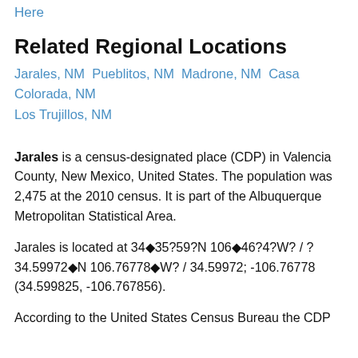Here
Related Regional Locations
Jarales, NM  Pueblitos, NM  Madrone, NM  Casa Colorada, NM  Los Trujillos, NM
Jarales is a census-designated place (CDP) in Valencia County, New Mexico, United States. The population was 2,475 at the 2010 census. It is part of the Albuquerque Metropolitan Statistical Area.
Jarales is located at 34◆35?59?N 106◆46?4?W? / ? 34.59972◆N 106.76778◆W? / 34.59972; -106.76778 (34.599825, -106.767856).
According to the United States Census Bureau the CDP